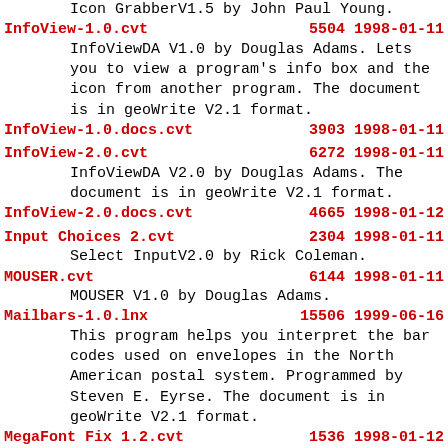Icon GrabberV1.5 by John Paul Young.
InfoView-1.0.cvt    5504 1998-01-11
    InfoViewDA V1.0 by Douglas Adams. Lets you to view a program's info box and the icon from another program. The document is in geoWrite V2.1 format.
InfoView-1.0.docs.cvt    3903 1998-01-11
InfoView-2.0.cvt    6272 1998-01-11
    InfoViewDA V2.0 by Douglas Adams. The document is in geoWrite V2.1 format.
InfoView-2.0.docs.cvt    4665 1998-01-12
Input Choices 2.cvt    2304 1998-01-11
    Select InputV2.0 by Rick Coleman.
MOUSER.cvt    6144 1998-01-11
    MOUSER V1.0 by Douglas Adams.
Mailbars-1.0.lnx    15506 1999-06-16
    This program helps you interpret the bar codes used on envelopes in the North American postal system. Programmed by Steven E. Eyrse. The document is in geoWrite V2.1 format.
MegaFont Fix 1.2.cvt    1536 1998-01-12
    MegaFontFix V1.2 by John P. Dalbec.
MouseUp Doc.cvt    1370 1998-01-12
    geoWrite V2.1 document.